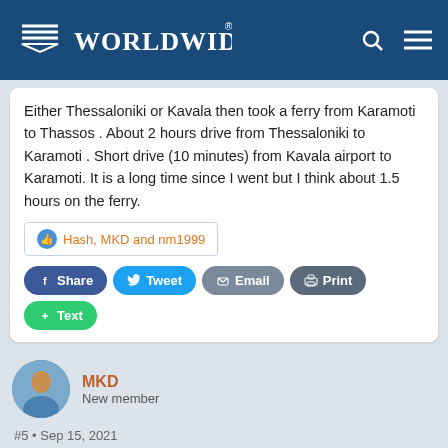Worldwide Greeks
Either Thessaloniki or Kavala then took a ferry from Karamoti to Thassos . About 2 hours drive from Thessaloniki to Karamoti . Short drive (10 minutes) from Kavala airport to Karamoti. It is a long time since I went but I think about 1.5 hours on the ferry.
Hash, MKD and nm1999
Share  Tweet  Email  Print  Text
MKD
New member
#5 • Sep 15, 2021
Worldwide Greeks Editor said:
Thanks for your post and for joining Worldwide Greeks!